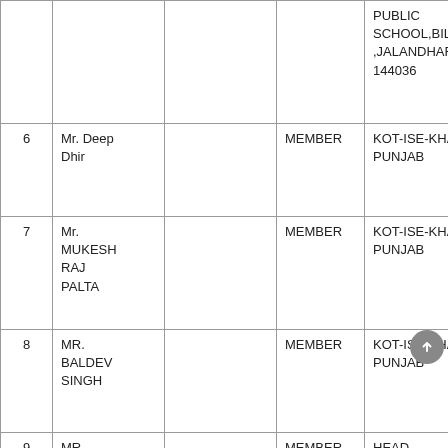|  | Name |  | Role | Address |
| --- | --- | --- | --- | --- |
|  |  |  |  | PUBLIC SCHOOL,BILGA,JALANDHAR 144036 |
| 6 | Mr. Deep Dhir |  | MEMBER | KOT-ISE-KHAN PUNJAB |
| 7 | Mr. MUKESH RAJ PALTA |  | MEMBER | KOT-ISE-KHAN PUNJAB |
| 8 | MR. BALDEV SINGH |  | MEMBER | KOT-ISE-KHAN PUNJAB |
| 9 | MR. VINOD KUMAR CHUGH |  | MEMBER | HEAD , DAYANAND MODEL SCHOOL , MODEL TOWN |